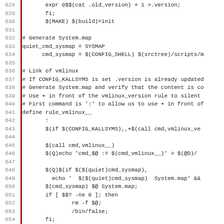[Figure (screenshot): Source code listing (Makefile) showing lines 628-659 with line numbers on the left, a red vertical bar marker, and monospace code content including shell commands and make rules for building vmlinux kernel image.]